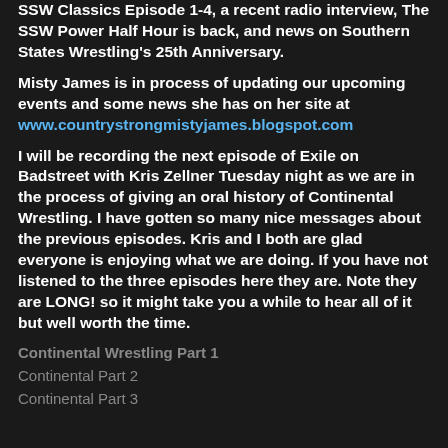SSW Classics Episode 1-4, a recent radio interview, The SSW Power Half Hour is back, and news on Southern States Wrestling's 25th Anniversary.
Misty James is in process of updating our upcoming events and some news she has on her site at www.countrystrongmistyjames.blogspot.com
I will be recording the next episode of Exile on Badstreet with Kris Zellner Tuesday night as we are in the process of giving an oral history of Continental Wrestling. I have gotten so many nice messages about the previous episodes. Kris and I both are glad everyone is enjoying what we are doing. If you have not listened to the three episodes here they are. Note they are LONG! so it might take you a while to hear all of it but well worth the time.
Continental Wrestling Part 1
Continental Part 2
Continental Part 3